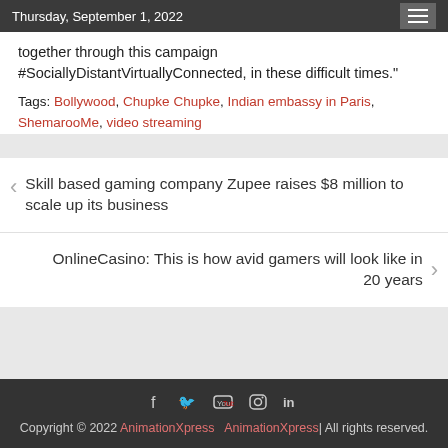Thursday, September 1, 2022
together through this campaign #SociallyDistantVirtuallyConnected, in these difficult times."
Tags: Bollywood, Chupke Chupke, Indian embassy in Paris, ShemarooMe, video streaming
< Skill based gaming company Zupee raises $8 million to scale up its business
OnlineCasino: This is how avid gamers will look like in 20 years >
Copyright © 2022 AnimationXpress   AnimationXpress| All rights reserved.